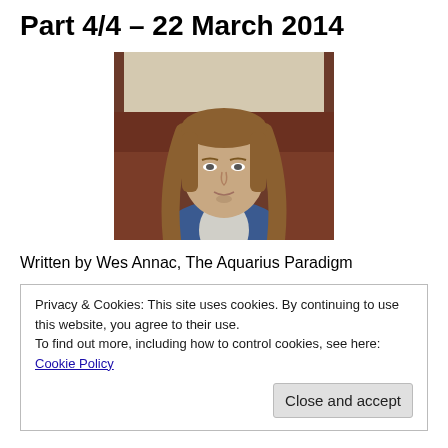Part 4/4 – 22 March 2014
[Figure (photo): A young person with long brown hair sitting on a dark red couch, wearing a blue and white shirt, looking slightly downward]
Written by Wes Annac, The Aquarius Paradigm
Privacy & Cookies: This site uses cookies. By continuing to use this website, you agree to their use.
To find out more, including how to control cookies, see here: Cookie Policy

Close and accept
which makes them all the more interesting, and the idea